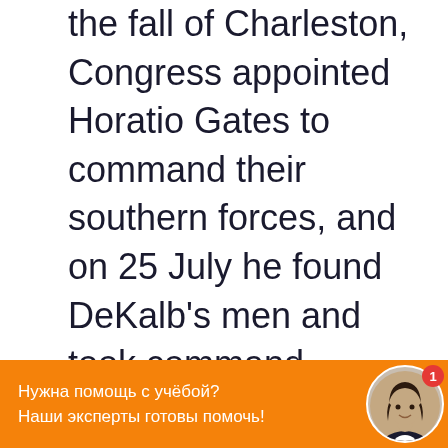the fall of Charleston, Congress appointed Horatio Gates to command their southern forces, and on 25 July he found DeKalb's men and took command.

Ignoring the advice of his officers, Gates decided to attack the British post at
[Figure (other): Orange promotional banner at bottom: 'Нужна помощь с учёбой? Наши эксперты готовы помочь!' with a circular avatar photo of a woman in professional attire and a red notification badge.]